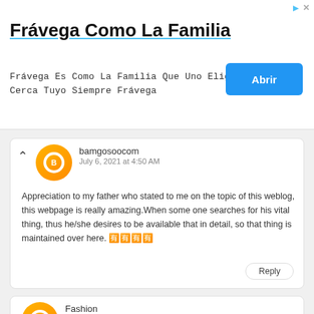[Figure (other): Advertisement banner for Frávega Como La Familia with blue underlined title, body text in monospace, and blue 'Abrir' button on the right]
bamgosoocom
July 6, 2021 at 4:50 AM
Appreciation to my father who stated to me on the topic of this weblog, this webpage is really amazing.When some one searches for his vital thing, thus he/she desires to be available that in detail, so that thing is maintained over here. 🈶🈶🈶🈶
Fashion
July 9, 2021 at 7:18 AM